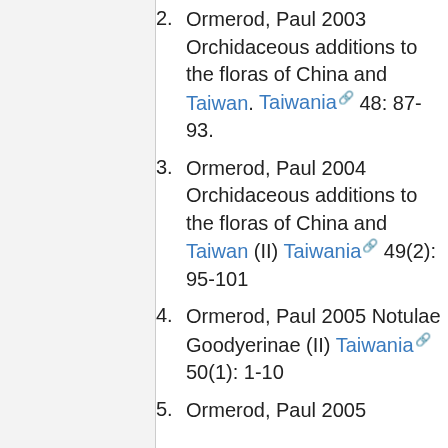2. Ormerod, Paul 2003 Orchidaceous additions to the floras of China and Taiwan. Taiwania 48: 87-93.
3. Ormerod, Paul 2004 Orchidaceous additions to the floras of China and Taiwan (II) Taiwania 49(2): 95-101
4. Ormerod, Paul 2005 Notulae Goodyerinae (II) Taiwania 50(1): 1-10
5. Ormerod, Paul 2005